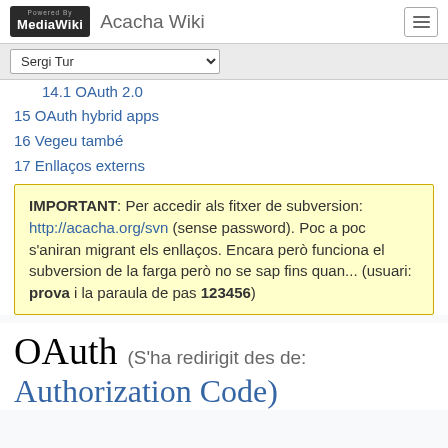Acacha Wiki
14.1 OAuth 2.0
15 OAuth hybrid apps
16 Vegeu també
17 Enllaços externs
IMPORTANT: Per accedir als fitxer de subversion: http://acacha.org/svn (sense password). Poc a poc s'aniran migrant els enllaços. Encara però funciona el subversion de la farga però no se sap fins quan... (usuari: prova i la paraula de pas 123456)
OAuth (S'ha redirigit des de: Authorization Code)